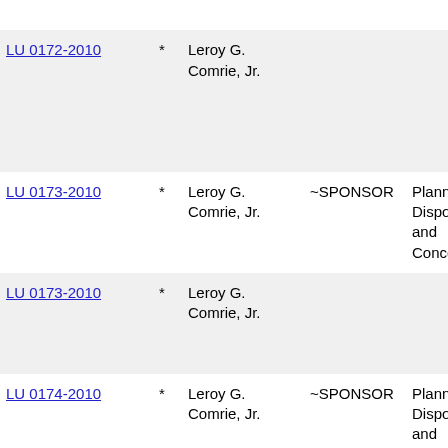| LU Number | * | Name | Sponsor | Committee | Description |
| --- | --- | --- | --- | --- | --- |
| (20115… |  |  |  |  |  |
| LU 0172-2010 | * | Leroy G. Comrie, Jr. |  |  | UDAA… Jerome 525-27, Linwoo… Brookly… (20115… |
| LU 0173-2010 | * | Leroy G. Comrie, Jr. | ~SPONSOR | Planning, Dispositions and Concessions | UDAAB… Siclen A… Brookly… (20115… |
| LU 0173-2010 | * | Leroy G. Comrie, Jr. |  |  | UDAAB… Siclen A… Brookly… (20115… |
| LU 0174-2010 | * | Leroy G. Comrie, Jr. | ~SPONSOR | Planning, Dispositions and Concessions | UDAAB… Tiebout… (20115… |
| LU 0174-2010 | * | Leroy G. Comrie, Jr. |  |  | UDAAB… Tiebout… (20115… |
| LU 0175-2010 | * | Leroy G. Comrie, Jr. | ~SPONSOR | Planning, Dispositions and | ULURP… E. 11th… Manhat… |